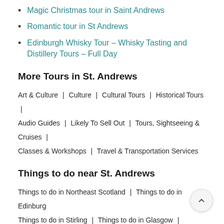Magic Christmas tour in Saint Andrews
Romantic tour in St Andrews
Edinburgh Whisky Tour – Whisky Tasting and Distillery Tours – Full Day
More Tours in St. Andrews
Art & Culture | Culture | Cultural Tours | Historical Tours | Audio Guides | Likely To Sell Out | Tours, Sightseeing & Cruises | Classes & Workshops | Travel & Transportation Services
Things to do near St. Andrews
Things to do in Northeast Scotland | Things to do in Edinburgh | Things to do in Stirling | Things to do in Glasgow | Things to do in Inverness | Things to do in Newcastle-upon-Tyne |